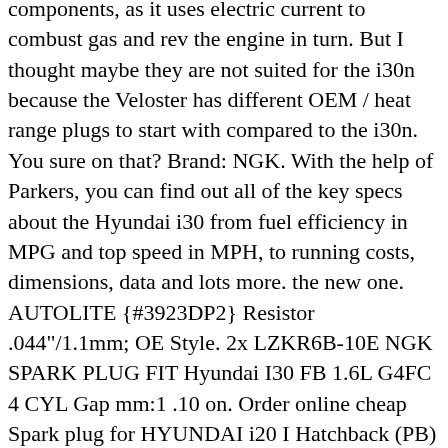components, as it uses electric current to combust gas and rev the engine in turn. But I thought maybe they are not suited for the i30n because the Veloster has different OEM / heat range plugs to start with compared to the i30n. You sure on that? Brand: NGK. With the help of Parkers, you can find out all of the key specs about the Hyundai i30 from fuel efficiency in MPG and top speed in MPH, to running costs, dimensions, data and lots more. the new one. AUTOLITE {#3923DP2} Resistor .044"/1.1mm; OE Style. 2x LZKR6B-10E NGK SPARK PLUG FIT Hyundai I30 FB 1.6L G4FC 4 CYL Gap mm:1 .10 on. Order online cheap Spark plug for HYUNDAI i20 I Hatchback (PB) 1.2 from 09.2008 78 hp on the site onlinecarparts.co.uk. The use of other spark plugs can result in loss of performance, radio interference or engine damage.